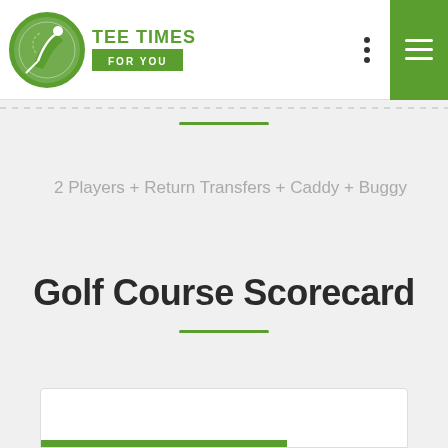TEE TIMES FOR YOU — navigation header with logo and menu
2 Players + Return Transfers + Caddy + Buggy
Golf Course Scorecard